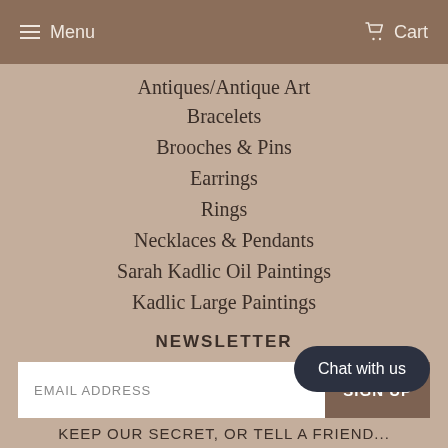Menu  Cart
Antiques/Antique Art
Bracelets
Brooches & Pins
Earrings
Rings
Necklaces & Pendants
Sarah Kadlic Oil Paintings
Kadlic Large Paintings
NEWSLETTER
EMAIL ADDRESS  SIGN UP
Chat with us
KEEP OUR SECRET, OR TELL A FRIEND...